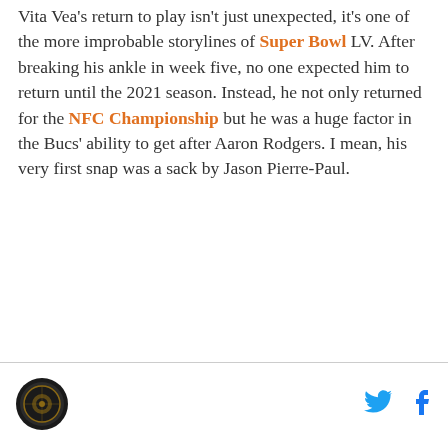Vita Vea's return to play isn't just unexpected, it's one of the more improbable storylines of Super Bowl LV. After breaking his ankle in week five, no one expected him to return until the 2021 season. Instead, he not only returned for the NFC Championship but he was a huge factor in the Bucs' ability to get after Aaron Rodgers. I mean, his very first snap was a sack by Jason Pierre-Paul.
[Figure (logo): Circular logo with dark background in footer]